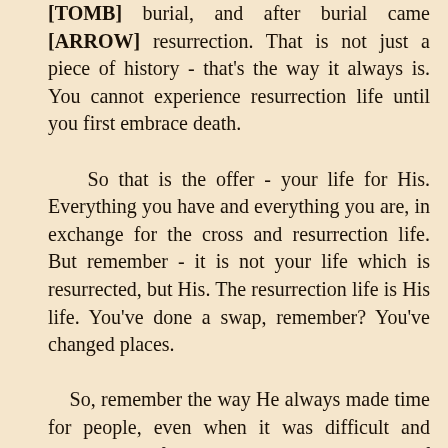[TOMB] burial, and after burial came [ARROW] resurrection. That is not just a piece of history - that's the way it always is. You cannot experience resurrection life until you first embrace death.

    So that is the offer - your life for His. Everything you have and everything you are, in exchange for the cross and resurrection life. But remember - it is not your life which is resurrected, but His. The resurrection life is His life. You've done a swap, remember? You've changed places.

    So, remember the way He always made time for people, even when it was difficult and inconvenient for Him? That's how you live, if you live His life. Remember how He